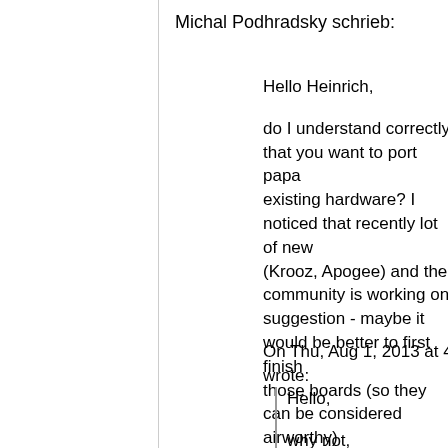Michal Podhradsky schrieb:
Hello Heinrich,

do I understand correctly that you want to port papa existing hardware? I noticed that recently lot of new (Krooz, Apogee) and the community is working on suggestion - maybe it would be better to first finish those boards (so they can be considered airworthy) new hardware (which should be way easier with pr

With kind regards
Michal
On Thu, Aug 1, 2013 at 4:21 PM, limaiem imed <a...> wrote:
Hello,

why not,

I can help with 3hours a week.

But you need to split the job ...